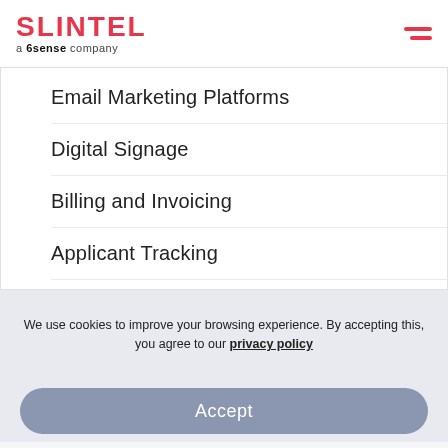SLINTEL a 6sense company
Email Marketing Platforms
Digital Signage
Billing and Invoicing
Applicant Tracking
Live Chat
CRM Platforms
Backup and Disaster Recovery
Communication
We use cookies to improve your browsing experience. By accepting this, you agree to our privacy policy
Accept